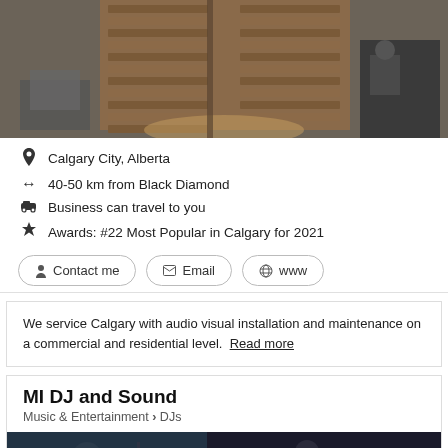[Figure (photo): Interior photo showing a room with wooden blinds on glass doors/windows, with boxes and furniture visible]
Calgary City, Alberta
40-50 km from Black Diamond
Business can travel to you
Awards: #22 Most Popular in Calgary for 2021
Contact me  Email  www
We service Calgary with audio visual installation and maintenance on a commercial and residential level.  Read more
MI DJ and Sound
Music & Entertainment > DJs
[Figure (photo): Dark photo showing a DJ or music/entertainment scene]